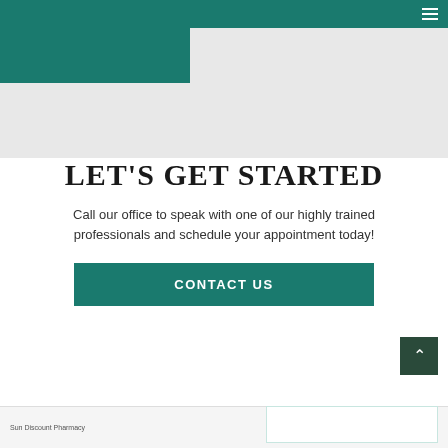Navigation bar with hamburger menu
[Figure (other): Grey hero area with teal/green rectangular block overlay at top left]
LET'S GET STARTED
Call our office to speak with one of our highly trained professionals and schedule your appointment today!
CONTACT US
Sun Discount Pharmacy